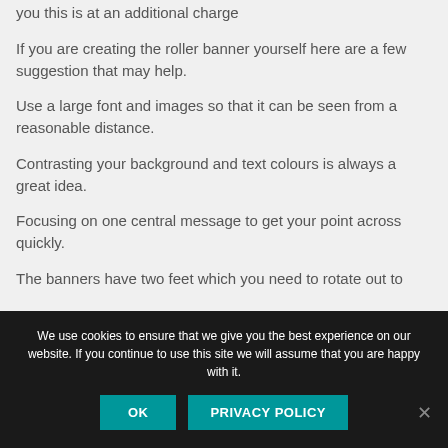you this is at an additional charge
If you are creating the roller banner yourself here are a few suggestion that may help.
Use a large font and images so that it can be seen from a reasonable distance.
Contrasting your background and text colours is always a great idea.
Focusing on one central message to get your point across quickly.
The banners have two feet which you need to rotate out to
We use cookies to ensure that we give you the best experience on our website. If you continue to use this site we will assume that you are happy with it.